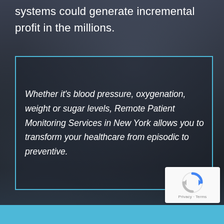systems could generate incremental profit in the millions.
Whether it's blood pressure, oxygenation, weight or sugar levels, Remote Patient Monitoring Services in New York allows you to transform your healthcare from episodic to preventive.
[Figure (other): reCAPTCHA badge with logo and Privacy · Terms links]